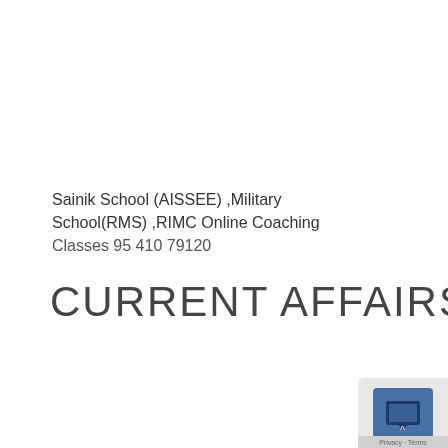Sainik School (AISSEE) ,Military School(RMS) ,RIMC Online Coaching Classes 95 410 79120
CURRENT AFFAIRS